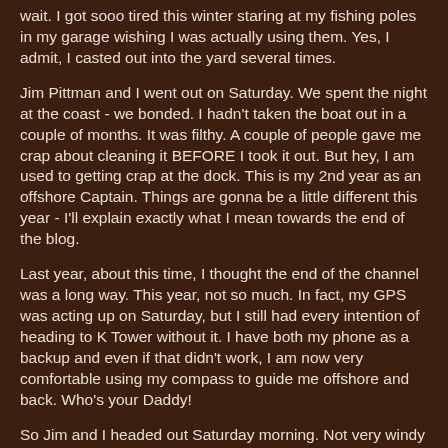wait. I got sooo tired this winter staring at my fishing poles in my garage wishing I was actually using them. Yes, I admit, I casted out into the yard several times.
Jim Pittman and I went out on Saturday. We spent the night at the coast - we bonded. I hadn't taken the boat out in a couple of months. It was filthy. A couple of people gave me crap about cleaning it BEFORE I took it out. But hey, I am used to getting crap at the dock. This is my 2nd year as an offshore Captain. Things are gonna be a little different this year - I'll explain exactly what I mean towards the end of the blog.
Last year, about this time, I thought the end of the channel was a long way. This year, not so much. In fact, my GPS was acting up on Saturday, but I still had every intention of heading to K Tower without it. I have both my phone as a backup and even if that didn't work, I am now very comfortable using my compass to guide me offshore and back. Who's your Daddy!
So Jim and I headed out Saturday morning. Not very windy heading out, that is cool. I really want to see if the...